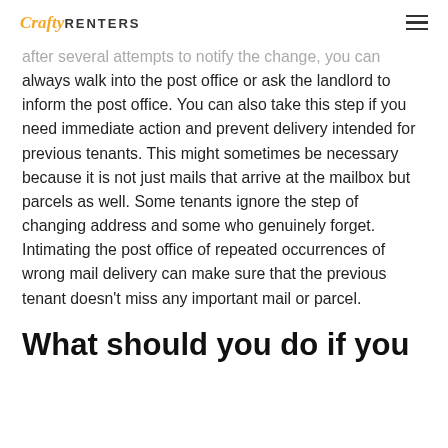CraftyRENTERS
after several attempts to notify the change, you can always walk into the post office or ask the landlord to inform the post office. You can also take this step if you need immediate action and prevent delivery intended for previous tenants. This might sometimes be necessary because it is not just mails that arrive at the mailbox but parcels as well. Some tenants ignore the step of changing address and some who genuinely forget. Intimating the post office of repeated occurrences of wrong mail delivery can make sure that the previous tenant doesn't miss any important mail or parcel.
What should you do if you